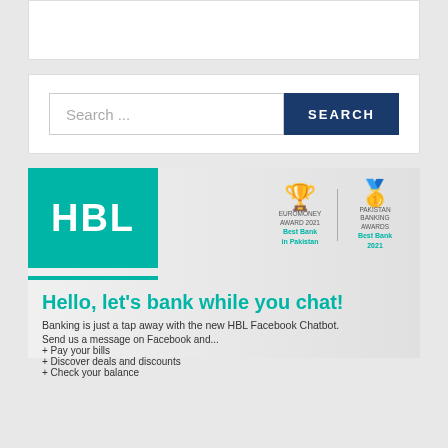[Figure (screenshot): Top white box area, partial content visible at top]
[Figure (infographic): Search bar with text 'Search ...' and blue SEARCH button]
[Figure (infographic): HBL bank advertisement banner with teal logo, award trophies, headline 'Hello, let's bank while you chat!', subtext about HBL Facebook Chatbot and bullet list items]